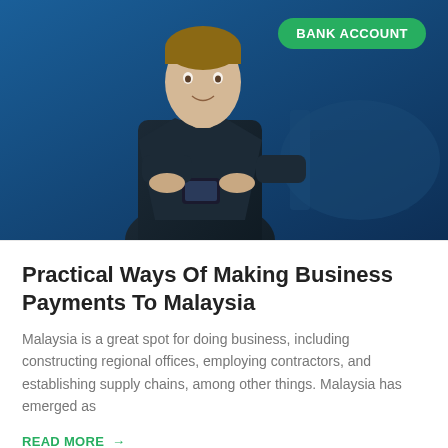[Figure (photo): Man in dark blazer holding a smartphone, standing in front of a blue background with office furniture. Green 'BANK ACCOUNT' badge in top right corner.]
Practical Ways Of Making Business Payments To Malaysia
Malaysia is a great spot for doing business, including constructing regional offices, employing contractors, and establishing supply chains, among other things. Malaysia has emerged as
READ MORE →
March 14, 2022  •  No Comments